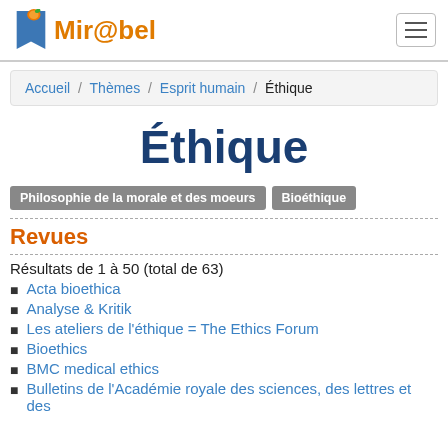Mir@bel
Accueil / Thèmes / Esprit humain / Éthique
Éthique
Philosophie de la morale et des moeurs  Bioéthique
Revues
Résultats de 1 à 50 (total de 63)
Acta bioethica
Analyse & Kritik
Les ateliers de l'éthique = The Ethics Forum
Bioethics
BMC medical ethics
Bulletins de l'Académie royale des sciences, des lettres et des